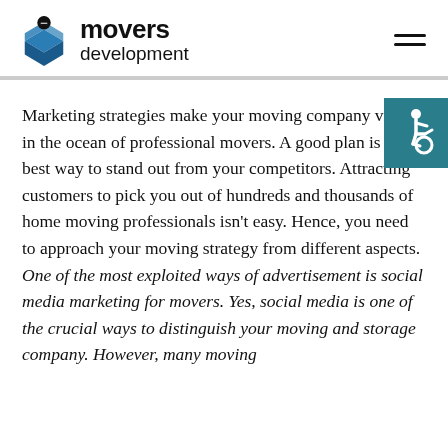movers development
[Figure (logo): Movers Development logo with location pin and open box icon]
[Figure (illustration): Accessibility icon (wheelchair symbol) in teal square badge]
Marketing strategies make your moving company visible in the ocean of professional movers. A good plan is the best way to stand out from your competitors. Attracting customers to pick you out of hundreds and thousands of home moving professionals isn't easy. Hence, you need to approach your moving strategy from different aspects. One of the most exploited ways of advertisement is social media marketing for movers. Yes, social media is one of the crucial ways to distinguish your moving and storage company. However, many moving